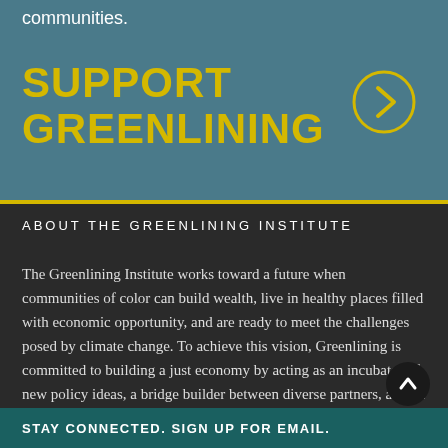communities.
SUPPORT GREENLINING
ABOUT THE GREENLINING INSTITUTE
The Greenlining Institute works toward a future when communities of color can build wealth, live in healthy places filled with economic opportunity, and are ready to meet the challenges posed by climate change. To achieve this vision, Greenlining is committed to building a just economy by acting as an incubator of new policy ideas, a bridge builder between diverse partners, and an advocate to build momentum for transformative c... 501(C)(3) nonpre...
STAY CONNECTED. SIGN UP FOR EMAIL.